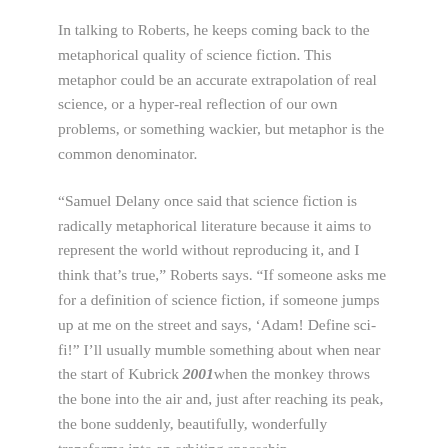In talking to Roberts, he keeps coming back to the metaphorical quality of science fiction. This metaphor could be an accurate extrapolation of real science, or a hyper-real reflection of our own problems, or something wackier, but metaphor is the common denominator.
“Samuel Delany once said that science fiction is radically metaphorical literature because it aims to represent the world without reproducing it, and I think that’s true,” Roberts says. “If someone asks me for a definition of science fiction, if someone jumps up at me on the street and says, ‘Adam! Define sci-fi!” I’ll usually mumble something about when near the start of Kubrick 2001 when the monkey throws the bone into the air and, just after reaching its peak, the bone suddenly, beautifully, wonderfully transforms into an orbiting spaceship.
Roberts can point to many reasons why the scene is powerful, but is keen not to reduce the image to those explanations.